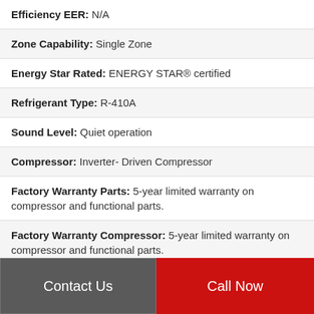Efficiency EER: N/A
Zone Capability: Single Zone
Energy Star Rated: ENERGY STAR® certified
Refrigerant Type: R-410A
Sound Level: Quiet operation
Compressor: Inverter- Driven Compressor
Factory Warranty Parts: 5-year limited warranty on compressor and functional parts.
Factory Warranty Compressor: 5-year limited warranty on compressor and functional parts.
Contact Us
Call Now